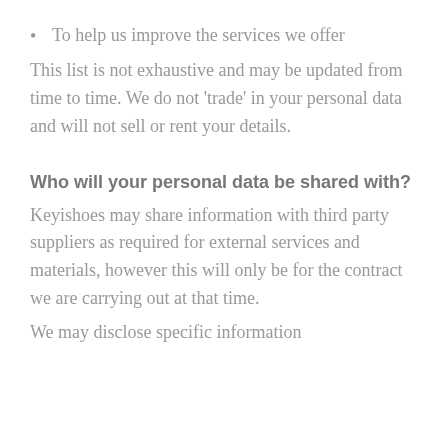To help us improve the services we offer
This list is not exhaustive and may be updated from time to time. We do not ‘trade’ in your personal data and will not sell or rent your details.
Who will your personal data be shared with?
Keyishoes may share information with third party suppliers as required for external services and materials, however this will only be for the contract we are carrying out at that time.
We may disclose specific information